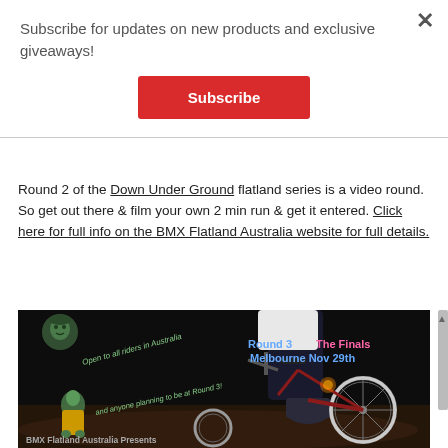Subscribe for updates on new products and exclusive giveaways!
Subscribe
Round 2 of the Down Under Ground flatland series is a video round. So get out there & film your own 2 min run & get it entered. Click here for full info on the BMX Flatland Australia website for full details.
[Figure (photo): BMX flatland rider performing tricks at night. Text overlays include 'Round 3 The Finals Melbourne Nov 29th', 'Open to all riders in Australia and anyone planning to be at Round 3!', and 'BMX Flatland Australia Presents'. Small portrait photos of two people are visible on the left side.]